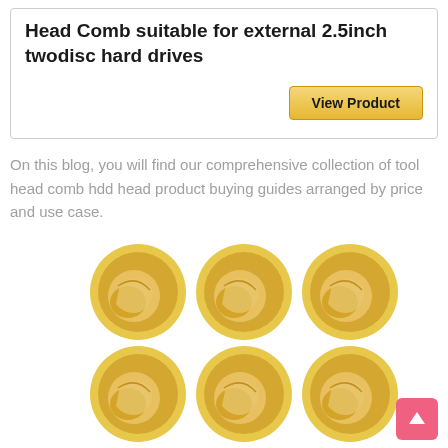Head Comb suitable for external 2.5inch twodisc hard drives
[Figure (other): A golden 'View Product' button]
On this blog, you will find our comprehensive collection of tool head comb hdd head product buying guides arranged by price and use case.
[Figure (photo): Six round golden/yellow disc-shaped objects arranged in two rows of three, resembling scallops or hard drive head combs.]